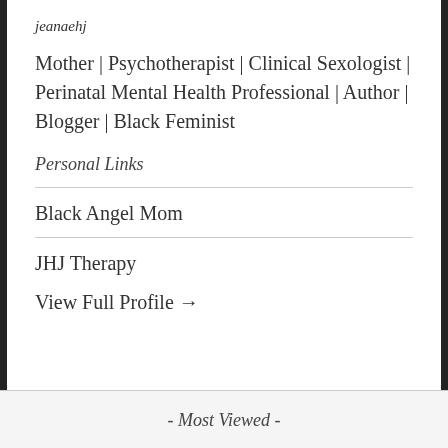jeanaehj
Mother | Psychotherapist | Clinical Sexologist | Perinatal Mental Health Professional | Author | Blogger | Black Feminist
Personal Links
Black Angel Mom
JHJ Therapy
View Full Profile →
- Most Viewed -